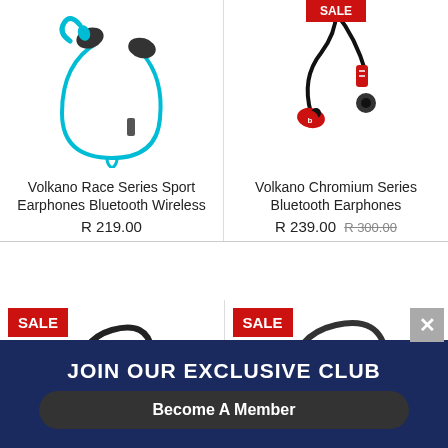[Figure (photo): Blue Volkano Race Series Sport Earphones Bluetooth Wireless product photo]
[Figure (photo): Red/black Volkano Chromium Series Bluetooth Earphones product photo with red SALE badge at top]
Volkano Race Series Sport Earphones Bluetooth Wireless
R 219.00
Volkano Chromium Series Bluetooth Earphones
R 239.00 R 300.00
[Figure (photo): Black headphones with SALE badge - bottom left product]
[Figure (photo): Dark headphones with SALE badge - bottom right product, with X close button]
JOIN OUR EXCLUSIVE CLUB
Become A Member